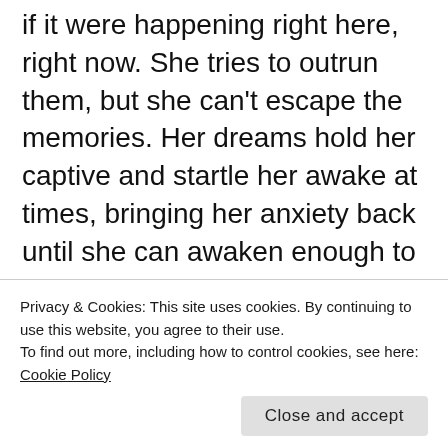if it were happening right here, right now. She tries to outrun them, but she can't escape the memories. Her dreams hold her captive and startle her awake at times, bringing her anxiety back until she can awaken enough to remember where she is and that she is safe in her space. She bolts out of bed planting her feet on the ground, gasping for a breath, just one will do, but it takes many minutes to fully inhale and exhale.
They never understood their breakups, the
Privacy & Cookies: This site uses cookies. By continuing to use this website, you agree to their use.
To find out more, including how to control cookies, see here: Cookie Policy
people are living a common, vanilla, flavored life.